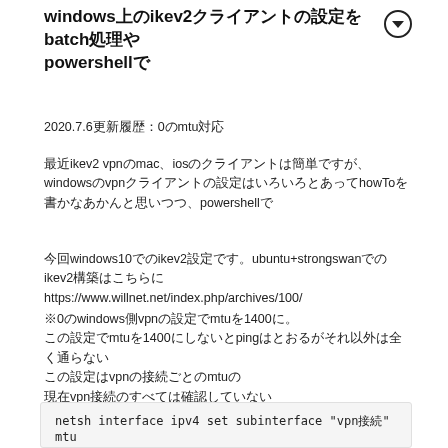windows上のikev2クライアントの設定をbatch処理やpowershellで
2020.7.6更新履歴：0のmtu対応
最近ikev2 vpnのmac、iosのクライアントは簡単ですが、windowsのvpnクライアントの設定はいろいろとあってhowToを書かなあかんと思いつつ、powershellで
今回windows10でのikev2設定です。ubuntu+strongswanでのikev2構築はこちらにhttps://www.willnet.net/index.php/archives/100/
※0のwindows側vpnの設定でmtuを1400に。
この設定でmtuを1400にしないとpingはとおるがそれ以外は全く通らない
この設定はvpnの接続ごとのmtuの
現在vpn接続のすべては確認していない
netsh interface ipv4 set subinterface "vpn接続" mtu